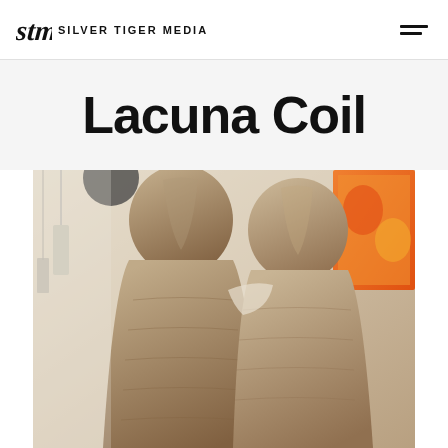Silver Tiger Media
Lacuna Coil
[Figure (photo): Two people wearing matching hooded patterned outfits viewed from behind, in what appears to be an art gallery or studio setting with an orange artwork visible in the background]